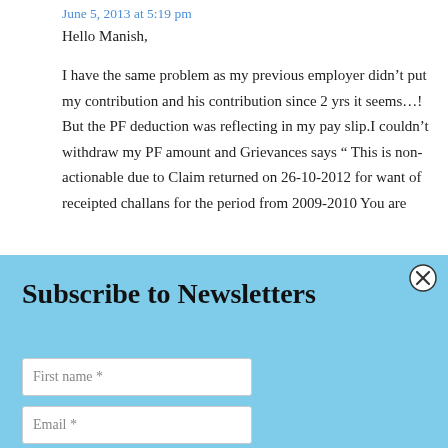June 5, 2013 at 5:19 pm
Hello Manish,
I have the same problem as my previous employer didn’t put my contribution and his contribution since 2 yrs it seems…! But the PF deduction was reflecting in my pay slip.I couldn’t withdraw my PF amount and Grievances says “ This is non-actionable due to Claim returned on 26-10-2012 for want of receipted challans for the period from 2009-2010 You are
Subscribe to Newsletters
First name *
Email *